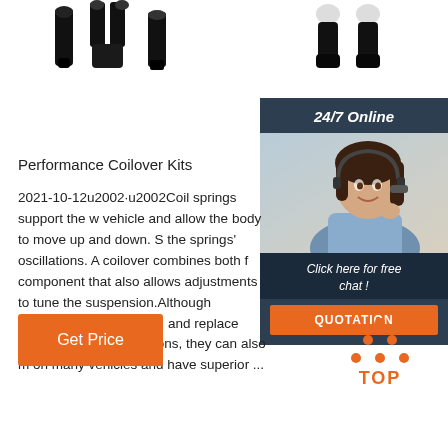[Figure (photo): Product images of coilover/suspension parts — black strut assemblies on left, and boot/ankle brace items on right, shown against white background]
[Figure (photo): 24/7 Online chat widget sidebar with a smiling woman wearing a headset, dark blue background header saying '24/7 Online', italic text 'Click here for free chat!', and an orange QUOTATION button]
Performance Coilover Kits
2021-10-12u2002·u2002Coil springs support the w vehicle and allow the body to move up and down. S the springs' oscillations. A coilover combines both f component that also allows adjustments to tune the suspension.Although coilovers look like struts, and replace them on many applications, they can also m on many vehicles and have superior ...
[Figure (other): Orange 'Get Price' button]
[Figure (logo): Orange 'TOP' back-to-top icon with upward pointing triangle made of dots]